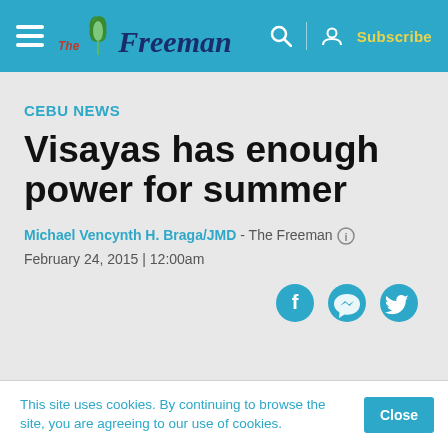The Freeman — Subscribe
CEBU NEWS
Visayas has enough power for summer
Michael Vencynth H. Braga/JMD - The Freeman ℹ
February 24, 2015 | 12:00am
This site uses cookies. By continuing to browse the site, you are agreeing to our use of cookies.